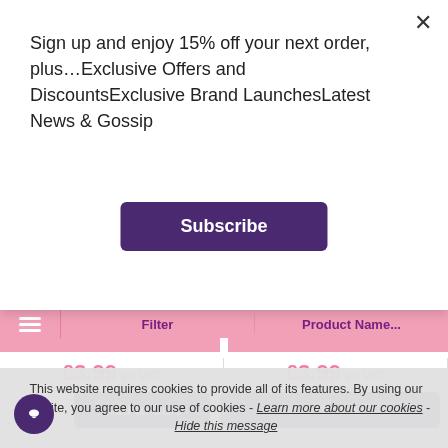Sign up and enjoy 15% off your next order, plus…Exclusive Offers and DiscountsExclusive Brand LaunchesLatest News & Gossip
Subscribe
£3.99 ex VAT
£3.99 ex VAT
1
Add to Cart
View Product
[Figure (logo): Cuccio brand logo with yellow '5 FOR 4' badge]
[Figure (logo): Cuccio brand logo with yellow '5 FOR 4' badge]
This website requires cookies to provide all of its features. By using our website, you agree to our use of cookies - Learn more about our cookies - Hide this message